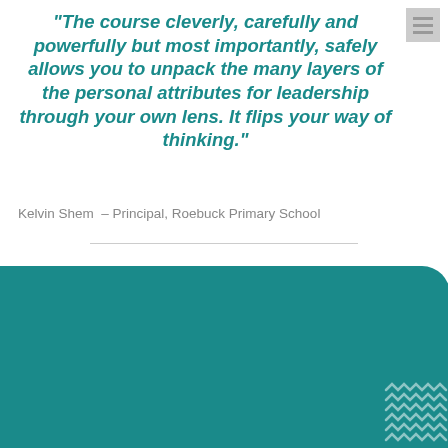“The course cleverly, carefully and powerfully but most importantly, safely allows you to unpack the many layers of the personal attributes for leadership through your own lens.  It flips your way of thinking.”
Kelvin Shem – Principal, Roebuck Primary School
COMMONLY REPORTED BENEFITS